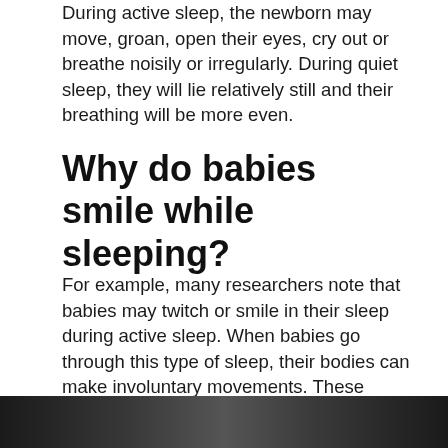During active sleep, the newborn may move, groan, open their eyes, cry out or breathe noisily or irregularly. During quiet sleep, they will lie relatively still and their breathing will be more even.
Why do babies smile while sleeping?
For example, many researchers note that babies may twitch or smile in their sleep during active sleep. When babies go through this type of sleep, their bodies can make involuntary movements. These involuntary movements might contribute to smiles and laughter from babies during this time.
[Figure (photo): Dark cropped photo at bottom of page, partially visible]